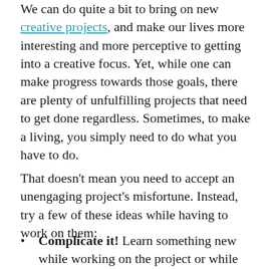We can do quite a bit to bring on new creative projects, and make our lives more interesting and more perceptive to getting into a creative focus. Yet, while one can make progress towards those goals, there are plenty of unfulfilling projects that need to get done regardless. Sometimes, to make a living, you simply need to do what you have to do.
That doesn't mean you need to accept an unengaging project's misfortune. Instead, try a few of these ideas while having to work on them:
Complicate it! Learn something new while working on the project or while doing the task; go above and beyond to find a more creative way of doing it. The bare minimum and doing